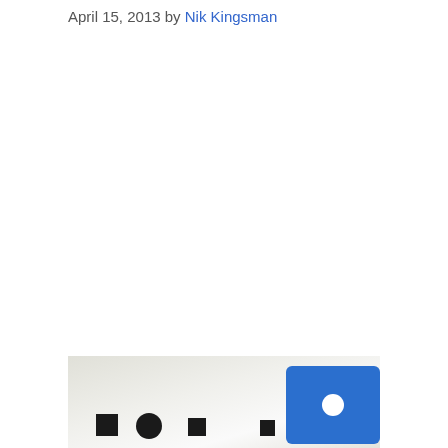April 15, 2013 by Nik Kingsman
[Figure (photo): A row of objects on a light background: black square, black circle, black rectangle, black rectangle, and a blue card with a white circle, arranged left to right.]